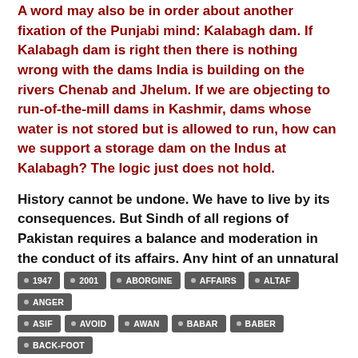A word may also be in order about another fixation of the Punjabi mind: Kalabagh dam. If Kalabagh dam is right then there is nothing wrong with the dams India is building on the rivers Chenab and Jhelum. If we are objecting to run-of-the-mill dams in Kashmir, dams whose water is not stored but is allowed to run, how can we support a storage dam on the Indus at Kalabagh? The logic just does not hold.
History cannot be undone. We have to live by its consequences. But Sindh of all regions of Pakistan requires a balance and moderation in the conduct of its affairs. Any hint of an unnatural hegemony of one part over the other is an invitation to anger and despair.
Courtesy:  →  The News
1947
2001
ABORGINE
AFFAIRS
ALTAF
ANGER
ASIF
AVOID
AWAN
BABAR
BABER
BACK-FOOT